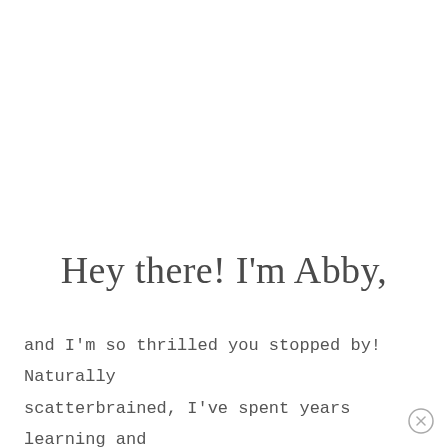Hey there! I'm Abby,
and I'm so thrilled you stopped by! Naturally scatterbrained, I've spent years learning and honing systems and habits that have helped me stay organized for good. If I can do it,